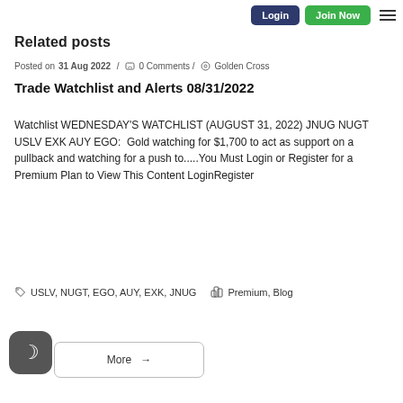Login | Join Now
Related posts
Posted on 31 Aug 2022 / 0 Comments / Golden Cross
Trade Watchlist and Alerts 08/31/2022
Watchlist WEDNESDAY'S WATCHLIST (AUGUST 31, 2022) JNUG NUGT USLV EXK AUY EGO:  Gold watching for $1,700 to act as support on a pullback and watching for a push to.....You Must Login or Register for a Premium Plan to View This Content LoginRegister
USLV, NUGT, EGO, AUY, EXK, JNUG  |  Premium, Blog